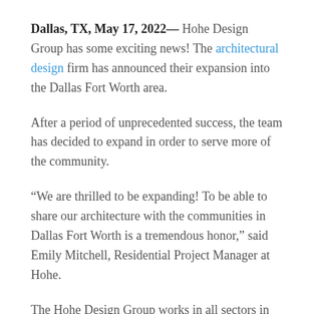Dallas, TX, May 17, 2022— Hohe Design Group has some exciting news! The architectural design firm has announced their expansion into the Dallas Fort Worth area.
After a period of unprecedented success, the team has decided to expand in order to serve more of the community.
“We are thrilled to be expanding! To be able to share our architecture with the communities in Dallas Fort Worth is a tremendous honor,” said Emily Mitchell, Residential Project Manager at Hohe.
The Hohe Design Group works in all sectors in the field of architecture. With Hohe, your